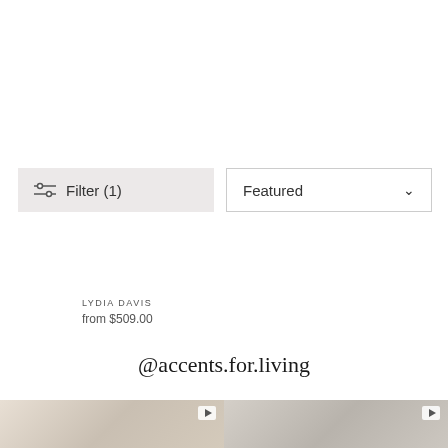Filter (1)
Featured
LYDIA DAVIS
from $509.00
@accents.for.living
[Figure (photo): Close-up photo of a white/cream upholstered furniture piece with a video icon overlay]
[Figure (photo): Close-up photo of a white/gray textured wall or furniture with a video icon overlay]